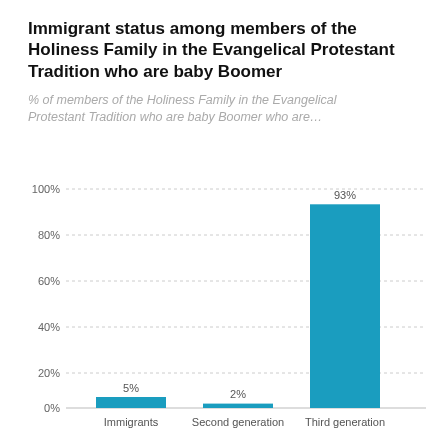Immigrant status among members of the Holiness Family in the Evangelical Protestant Tradition who are baby Boomer
% of members of the Holiness Family in the Evangelical Protestant Tradition who are baby Boomer who are…
[Figure (bar-chart): Immigrant status among members of the Holiness Family in the Evangelical Protestant Tradition who are baby Boomer]